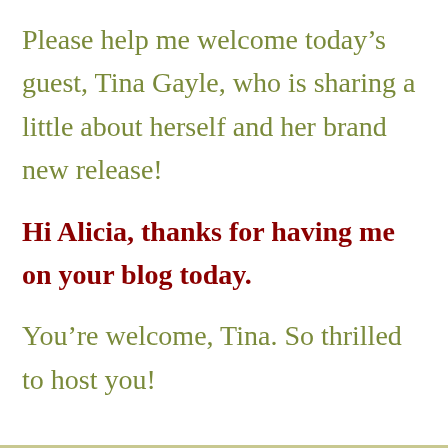Please help me welcome today’s guest, Tina Gayle, who is sharing a little about herself and her brand new release!
Hi Alicia, thanks for having me on your blog today.
You’re welcome, Tina. So thrilled to host you!